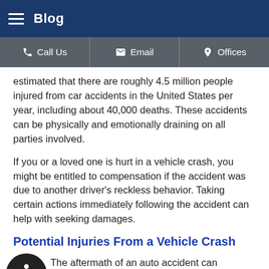Blog
Call Us | Email | Offices
estimated that there are roughly 4.5 million people injured from car accidents in the United States per year, including about 40,000 deaths. These accidents can be physically and emotionally draining on all parties involved.
If you or a loved one is hurt in a vehicle crash, you might be entitled to compensation if the accident was due to another driver's reckless behavior. Taking certain actions immediately following the accident can help with seeking damages.
Potential Injuries From a Vehicle Crash
The aftermath of an auto accident can produce lasting [effects] for every party involved, including serious injuries. Depending on the circumstances, some of the